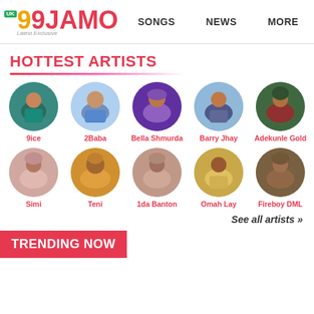99JAMO Latest Exclusive | SONGS | NEWS | MORE
HOTTEST ARTISTS
[Figure (photo): Grid of circular artist profile photos: 9ice, 2Baba, Bella Shmurda, Barry Jhay, Adekunle Gold (top row); Simi, Teni, 1da Banton, Omah Lay, Fireboy DML (bottom row)]
See all artists »
TRENDING NOW